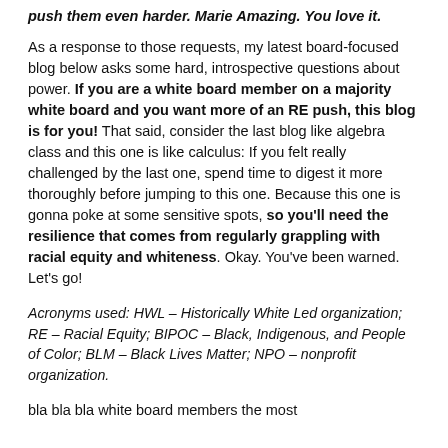push them even harder. Marie Amazing. You love it.
As a response to those requests, my latest board-focused blog below asks some hard, introspective questions about power. If you are a white board member on a majority white board and you want more of an RE push, this blog is for you! That said, consider the last blog like algebra class and this one is like calculus: If you felt really challenged by the last one, spend time to digest it more thoroughly before jumping to this one. Because this one is gonna poke at some sensitive spots, so you'll need the resilience that comes from regularly grappling with racial equity and whiteness. Okay. You've been warned. Let's go!
Acronyms used: HWL – Historically White Led organization; RE – Racial Equity; BIPOC – Black, Indigenous, and People of Color; BLM – Black Lives Matter; NPO – nonprofit organization.
...